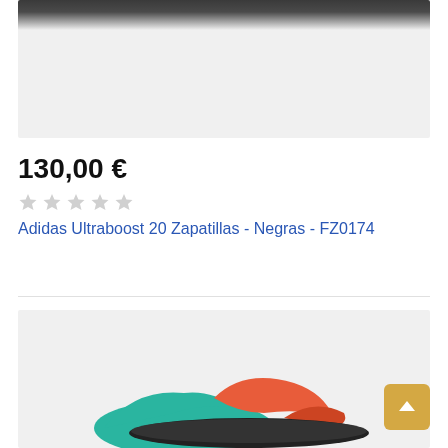[Figure (photo): Partial top view of black Adidas Ultraboost sneaker against light gray background]
130,00 €
[Figure (other): Five empty/unfilled star rating icons in light gray]
Adidas Ultraboost 20 Zapatillas - Negras - FZ0174
[Figure (photo): Colorful Adidas sneaker with teal and orange/red color scheme on light gray background]